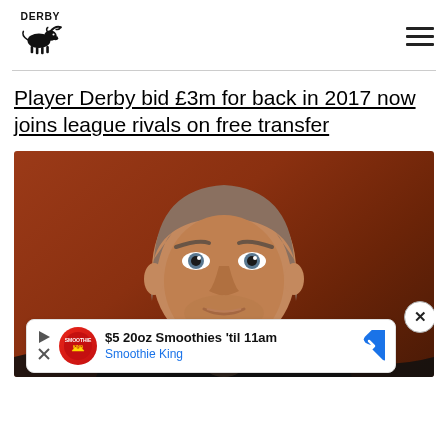Derby County Fan Site - Logo and navigation menu
Player Derby bid £3m for back in 2017 now joins league rivals on free transfer
[Figure (photo): Close-up photo of a man (Wayne Rooney) looking directly at the camera, wearing a dark jacket, with a reddish-brown blurred background. An advertisement banner overlay at the bottom shows '$5 20oz Smoothies til 11am - Smoothie King' with a close button.]